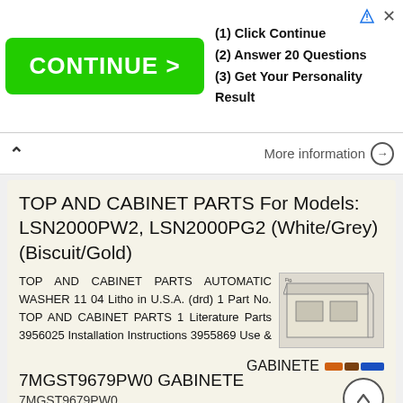[Figure (screenshot): Advertisement banner: green CONTINUE > button with steps (1) Click Continue (2) Answer 20 Questions (3) Get Your Personality Result]
More information
TOP AND CABINET PARTS For Models: LSN2000PW2, LSN2000PG2 (White/Grey) (Biscuit/Gold)
TOP AND CABINET PARTS AUTOMATIC WASHER 11 04 Litho in U.S.A. (drd) 1 Part No. TOP AND CABINET PARTS 1 Literature Parts 3956025 Installation Instructions 3955869 Use & Care Guide 3955907 Feature Sheet 3956930
More information
7MGST9679PW0 GABINETE
7MGST9679PW0
GABINETE